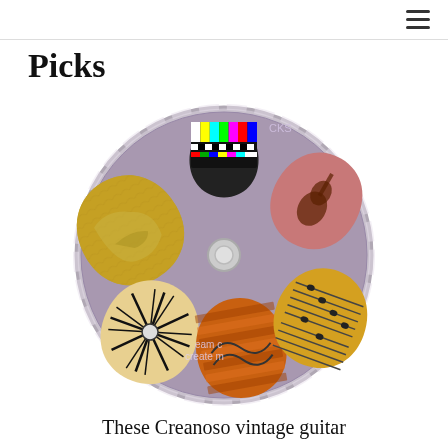≡
Picks
[Figure (photo): A circular clear plastic guitar pick holder/tray containing six decorative guitar picks arranged around a central hub. The picks feature various designs: a TV color test pattern, a pink pick with an acoustic guitar silhouette, a golden/antique map texture, a black starburst/wheel design, a warm orange striped/painted design, and a yellow sheet music design. Text on the container reads 'eam c create m'.]
These Creanoso vintage guitar